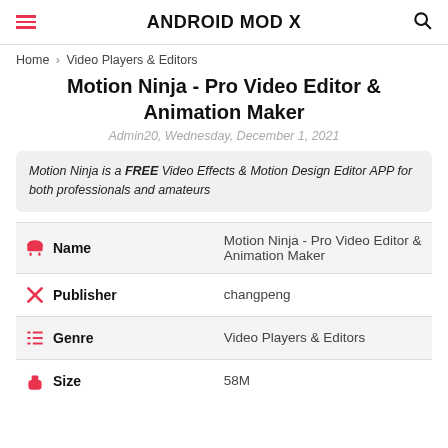ANDROID MOD X
Home > Video Players & Editors
Motion Ninja - Pro Video Editor & Animation Maker
Admin20, Wednesday, December 1, 2021
Motion Ninja is a FREE Video Effects & Motion Design Editor APP for both professionals and amateurs
| Field | Value |
| --- | --- |
| Name | Motion Ninja - Pro Video Editor & Animation Maker |
| Publisher | changpeng |
| Genre | Video Players & Editors |
| Size | 58M |